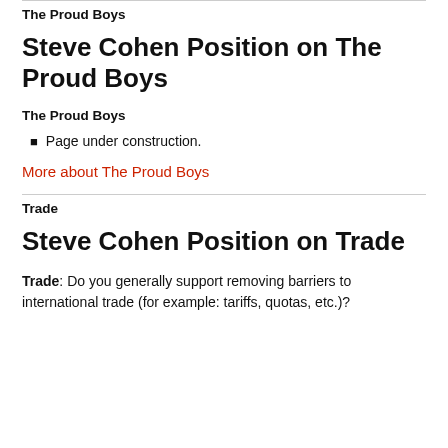The Proud Boys
Steve Cohen Position on The Proud Boys
The Proud Boys
Page under construction.
More about The Proud Boys
Trade
Steve Cohen Position on Trade
Trade: Do you generally support removing barriers to international trade (for example: tariffs, quotas, etc.)?